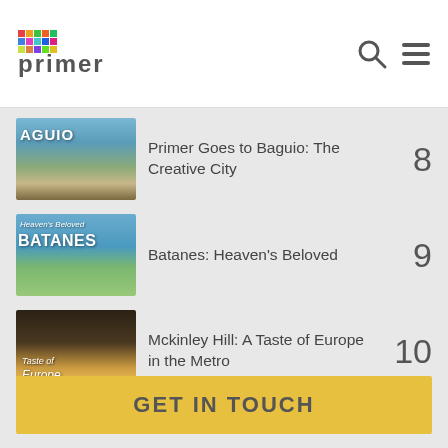primer (logo with colorful squares)
Primer Goes to Baguio: The Creative City — 8
Batanes: Heaven's Beloved — 9
Mckinley Hill: A Taste of Europe in the Metro — 10
GET IN TOUCH